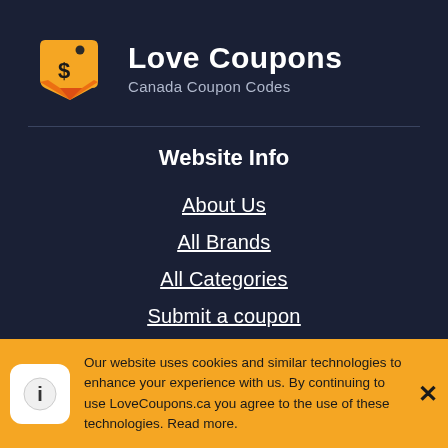[Figure (logo): Love Coupons logo: yellow/orange price tag with dollar sign and red fold]
Love Coupons
Canada Coupon Codes
Website Info
About Us
All Brands
All Categories
Submit a coupon
Contact Us
Black Friday
Our website uses cookies and similar technologies to enhance your experience with us. By continuing to use LoveCoupons.ca you agree to the use of these technologies. Read more.